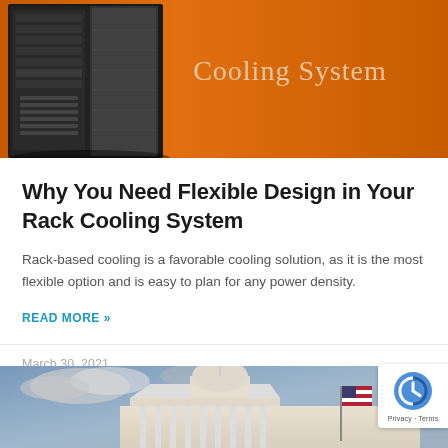[Figure (photo): Banner image showing a server rack cooling unit on an orange gradient background with text 'Cooling System' in light serif font]
Why You Need Flexible Design in Your Rack Cooling System
Rack-based cooling is a favorable cooling solution, as it is the most flexible option and is easy to plan for any power density.
READ MORE »
March 30, 2021
[Figure (photo): Bottom partial image showing the US Capitol building with an American flag, cloudy blue sky background]